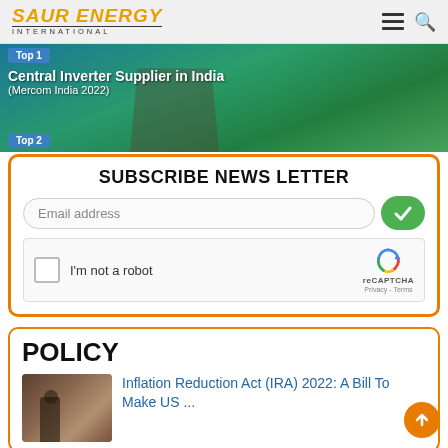SAUR ENERGY INTERNATIONAL
[Figure (photo): Banner image showing Central Inverter Supplier in India (Mercom India 2022) with aerial/nature background]
SUBSCRIBE NEWS LETTER
Email address
[Figure (other): reCAPTCHA widget with 'I'm not a robot' checkbox]
POLICY
Inflation Reduction Act (IRA) 2022: A Bill To Make US ...